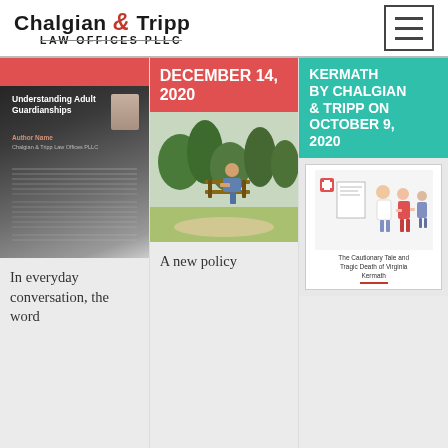Chalgian & Tripp Law Offices PLLC
[Figure (illustration): Book cover: Understanding Adult Guardianships, dark background with scales of justice image and author photo]
DECEMBER 14, 2020
[Figure (photo): Elderly person sitting on a park bench outdoors]
KERMATH BY CHALGIAN & TRIPP ON OCTOBER 9, 2020
[Figure (illustration): Book: The Cautionary Tale and Tragic Death of Virginia Kermath, with illustrated characters]
In everyday conversation, the word
A new policy